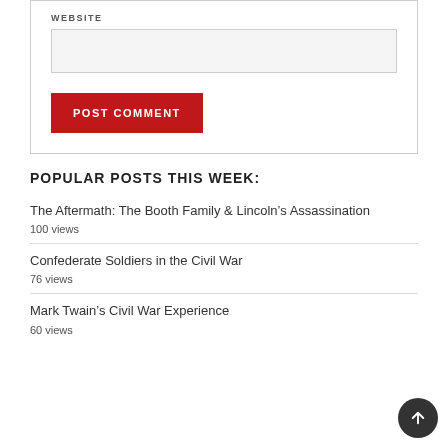WEBSITE
POPULAR POSTS THIS WEEK:
The Aftermath: The Booth Family & Lincoln's Assassination
100 views
Confederate Soldiers in the Civil War
76 views
Mark Twain's Civil War Experience
60 views